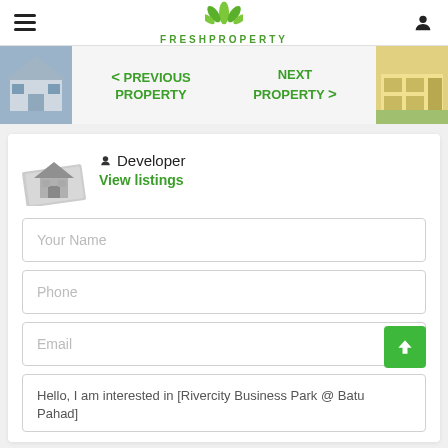FRESHPROPERTY
[Figure (screenshot): Navigation strip with previous and next property thumbnails and green navigation links]
Developer
View listings
Your Name
Phone
Email
Hello, I am interested in [Rivercity Business Park @ Batu Pahad]